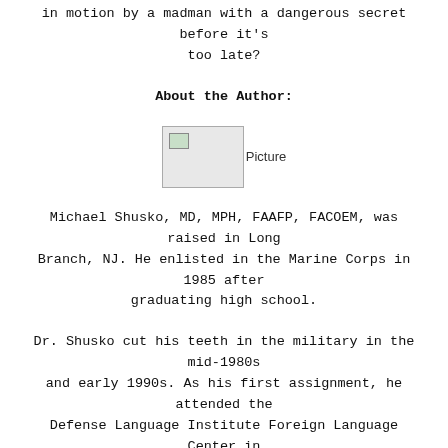in motion by a madman with a dangerous secret before it's too late?
About the Author:
[Figure (photo): Author photo placeholder image (broken image icon)]
Michael Shusko, MD, MPH, FAAFP, FACOEM, was raised in Long Branch, NJ. He enlisted in the Marine Corps in 1985 after graduating high school.
Dr. Shusko cut his teeth in the military in the mid-1980s and early 1990s. As his first assignment, he attended the Defense Language Institute Foreign Language Center in Monterey, CA, where he studied Arabic. Upon completing his language training, he worked on intelligence and medical missions across the globe. He spent time in Liberia, served as a Marine during the first Gulf War, and worked for several years with the Defense Attaché's office at the US